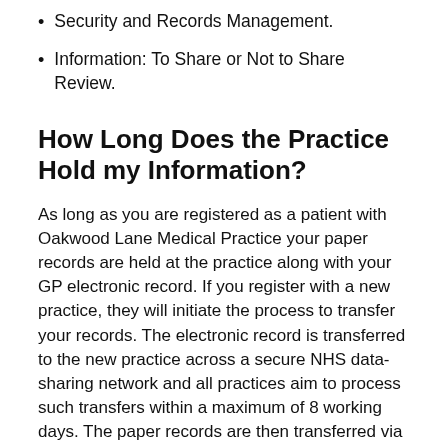Security and Records Management.
Information: To Share or Not to Share Review.
How Long Does the Practice Hold my Information?
As long as you are registered as a patient with Oakwood Lane Medical Practice your paper records are held at the practice along with your GP electronic record. If you register with a new practice, they will initiate the process to transfer your records. The electronic record is transferred to the new practice across a secure NHS data-sharing network and all practices aim to process such transfers within a maximum of 8 working days. The paper records are then transferred via Primary Care Services England (operated on behalf of NHS England by Capita) which can take